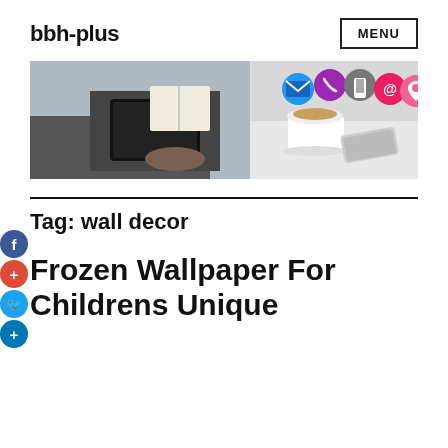bbh-plus
[Figure (screenshot): Hero banner image showing person holding a tablet at a desk with coffee and smartphone, with colorful contact icons (email, phone, mobile, @, location) overlaid on the right side]
Tag: wall decor
Frozen Wallpaper For Childrens Unique